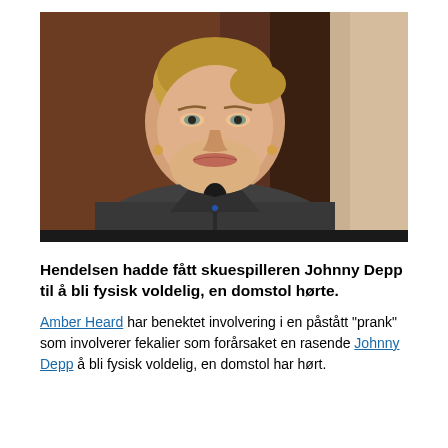[Figure (photo): A woman with blonde hair pulled back, wearing a dark jacket, seated at what appears to be a courtroom witness stand with a microphone in front of her. She is looking slightly upward and to the left. The background shows dark wood paneling.]
Hendelsen hadde fått skuespilleren Johnny Depp til å bli fysisk voldelig, en domstol hørte.
Amber Heard har benektet involvering i en påstått "prank" som involverer fekalier som forårsaket en rasende Johnny Depp å bli fysisk voldelig, en domstol har hørt.